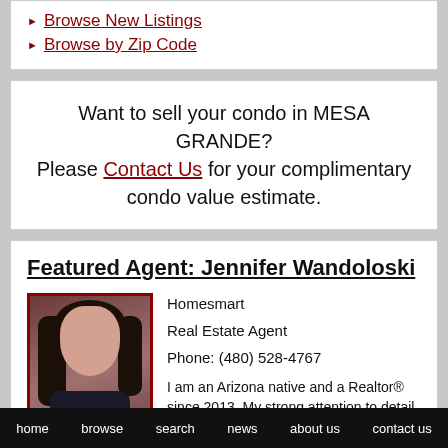Browse New Listings
Browse by Zip Code
Want to sell your condo in MESA GRANDE? Please Contact Us for your complimentary condo value estimate.
Featured Agent: Jennifer Wandoloski
Homesmart
Real Estate Agent
Phone: (480) 528-4767
I am an Arizona native and a Realtor® since 2013. My strong attention to detail and...
[Figure (photo): Headshot photo of Jennifer Wandoloski, a woman with long dark hair, smiling, wearing a dark jacket, with a dark reddish-brown background.]
home   browse   search   news   about us   contact us